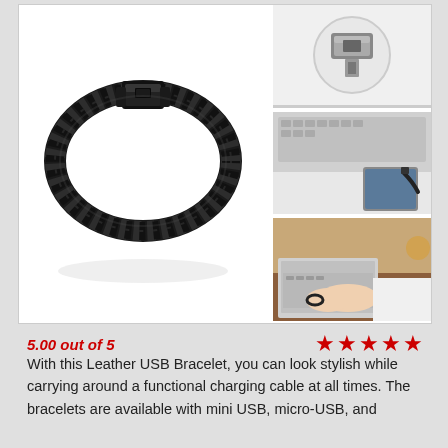[Figure (photo): Main product image: black braided leather bracelet with USB connector clasp]
[Figure (photo): Close-up of the USB metal connector end of the bracelet]
[Figure (photo): Bracelet being used as a charging cable connected to a laptop and phone]
[Figure (photo): Person wearing the bracelet while typing on a laptop]
5.00 out of 5
With this Leather USB Bracelet, you can look stylish while carrying around a functional charging cable at all times. The bracelets are available with mini USB, micro-USB, and